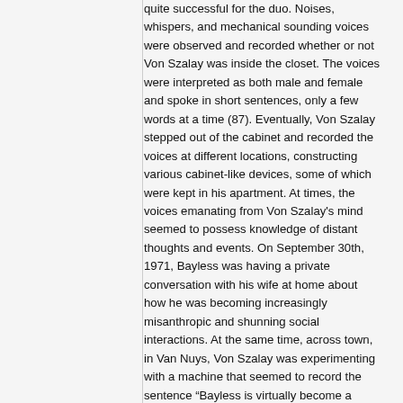quite successful for the duo. Noises, whispers, and mechanical sounding voices were observed and recorded whether or not Von Szalay was inside the closet. The voices were interpreted as both male and female and spoke in short sentences, only a few words at a time (87). Eventually, Von Szalay stepped out of the cabinet and recorded the voices at different locations, constructing various cabinet-like devices, some of which were kept in his apartment. At times, the voices emanating from Von Szalay's mind seemed to possess knowledge of distant thoughts and events. On September 30th, 1971, Bayless was having a private conversation with his wife at home about how he was becoming increasingly misanthropic and shunning social interactions. At the same time, across town, in Van Nuys, Von Szalay was experimenting with a machine that seemed to record the sentence “Bayless is virtually become a recluse” (88). While Von Szalay and Bayless were the first to experiment with E.V.P. extensively, as well as, to record and publish their findings, it is a